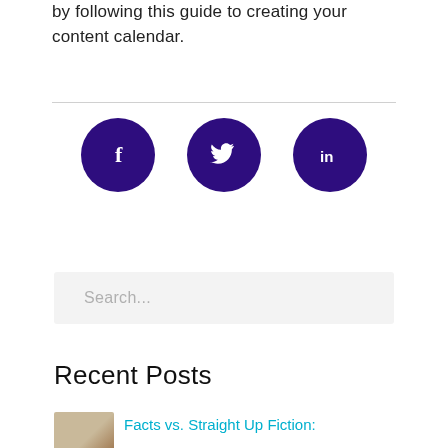by following this guide to creating your content calendar.
[Figure (other): Three social media share buttons: Facebook (f), Twitter (bird), LinkedIn (in), each as a dark purple circle with white icon.]
Search...
Recent Posts
Facts vs. Straight Up Fiction: